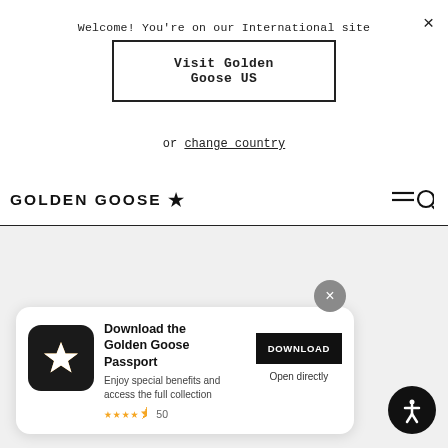Welcome! You're on our International site
Visit Golden Goose US
or change country
GOLDEN GOOSE ★
[Figure (screenshot): Gray empty main content area below navigation]
[Figure (infographic): App download card with Golden Goose Passport app icon, title, description, star rating, DOWNLOAD button, and Open directly link]
Download the Golden Goose Passport
Enjoy special benefits and access the full collection
★★★★½ 50
DOWNLOAD
Open directly